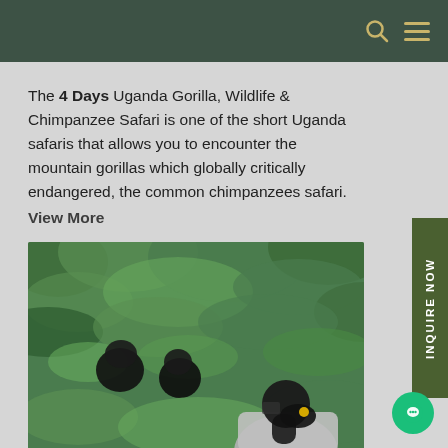Navigation bar with search and menu icons
The 4 Days Uganda Gorilla, Wildlife & Chimpanzee Safari is one of the short Uganda safaris that allows you to encounter the mountain gorillas which globally critically endangered, the common chimpanzees safari. View More
[Figure (photo): A person photographing mountain gorillas in a dense green jungle in Uganda]
INQUIRE NOW